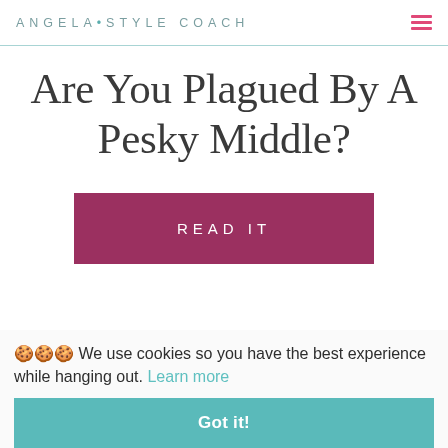ANGELA • STYLE COACH
Are You Plagued By A Pesky Middle?
READ IT
🍪🍪🍪 We use cookies so you have the best experience while hanging out. Learn more
Got it!